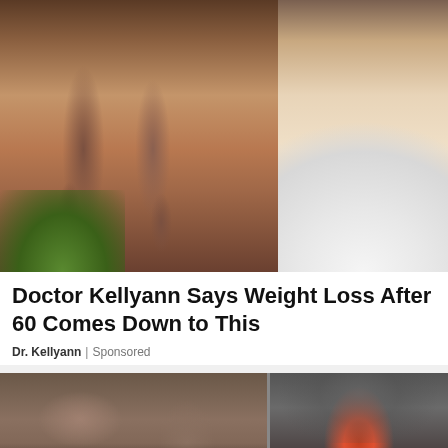[Figure (photo): Split image: left side shows close-up of legs with varicose veins and cellulite, with green plants at bottom; right side shows a smiling female doctor in white coat with stethoscope, name tag reading 'Dr. Kellyann']
Doctor Kellyann Says Weight Loss After 60 Comes Down to This
Dr. Kellyann | Sponsored
[Figure (photo): Split image showing what appears to be a building exterior on the left and smoke/fire scene on the right, appearing to be a news video thumbnail]